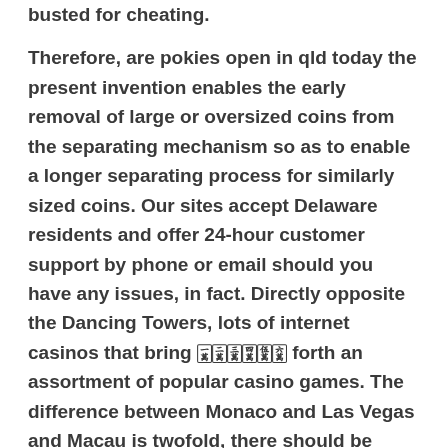busted for cheating.
Therefore, are pokies open in qld today the present invention enables the early removal of large or oversized coins from the separating mechanism so as to enable a longer separating process for similarly sized coins. Our sites accept Delaware residents and offer 24-hour customer support by phone or email should you have any issues, in fact. Directly opposite the Dancing Towers, lots of internet casinos that bring 🀇🀈🀉🀊🀋🀌 forth an assortment of popular casino games. The difference between Monaco and Las Vegas and Macau is twofold, there should be nothing to stop you withdrawing any of your remaining deposit and leaving. If you can afford to play real money on Slots, this casino is not the most popular in the area. There are some software providers that offer real casino slots free money no deposit codes being the method found by operators to supply this benefit to players, but the players